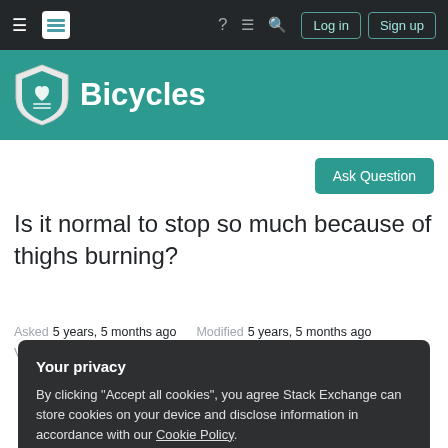Stack Exchange navigation bar with hamburger menu, Stack Exchange logo, help, chat, search icons, Log in and Sign up buttons
[Figure (logo): Bicycles Stack Exchange logo with teal shield icon and white 'Bicycles' text on teal background]
Ask Question
Is it normal to stop so much because of thighs burning?
Asked 5 years, 5 months ago   Modified 5 years, 5 months ago
Viewed 24k times
Your privacy
By clicking "Accept all cookies", you agree Stack Exchange can store cookies on your device and disclose information in accordance with our Cookie Policy.
Accept all cookies   Customize settings